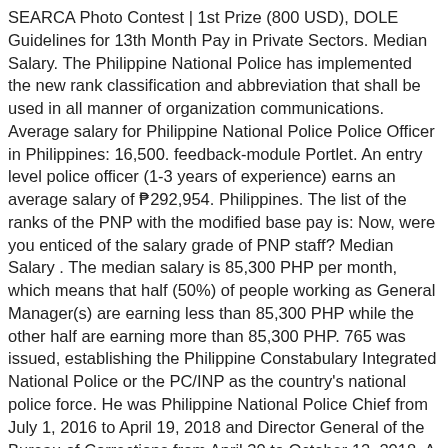SEARCA Photo Contest | 1st Prize (800 USD), DOLE Guidelines for 13th Month Pay in Private Sectors. Median Salary. The Philippine National Police has implemented the new rank classification and abbreviation that shall be used in all manner of organization communications. Average salary for Philippine National Police Police Officer in Philippines: 16,500. feedback-module Portlet. An entry level police officer (1-3 years of experience) earns an average salary of ₱292,954. Philippines. The list of the ranks of the PNP with the modified base pay is: Now, were you enticed of the salary grade of PNP staff? Median Salary . The median salary is 85,300 PHP per month, which means that half (50%) of people working as General Manager(s) are earning less than 85,300 PHP while the other half are earning more than 85,300 PHP. 765 was issued, establishing the Philippine Constabulary Integrated National Police or the PC/INP as the country's national police force. He was Philippine National Police Chief from July 1, 2016 to April 19, 2018 and Director General of the Bureau of Corrections from April 30 to October 12, 2018. A person